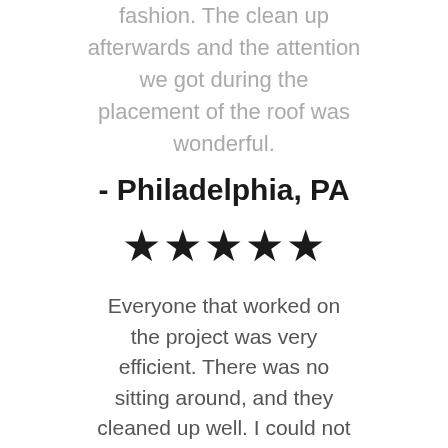fashion. The clean up afterwards and the attention we got during the placement of the roof was wonderful.
- Philadelphia, PA
[Figure (other): Five black star rating icons]
Everyone that worked on the project was very efficient. There was no sitting around, and they cleaned up well. I could not ask for a better job. I would